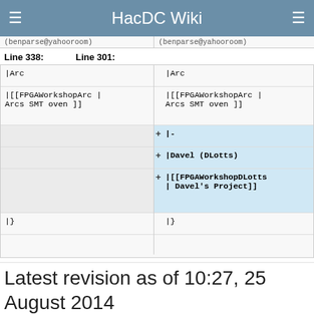HacDC Wiki
(benparse@yahooroom)
Line 338:
Line 301:
|Arc
|Arc
|[[FPGAWorkshopArc | Arcs SMT oven ]]
|[[FPGAWorkshopArc | Arcs SMT oven ]]
|-
|Davel (DLotts)
|[[FPGAWorkshopDLotts | Davel's Project]]
|}
|}
Latest revision as of 10:27, 25 August 2014